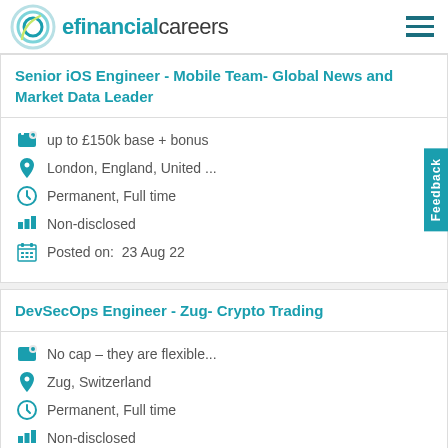efinancialcareers
Senior iOS Engineer - Mobile Team- Global News and Market Data Leader
up to £150k base + bonus
London, England, United ...
Permanent, Full time
Non-disclosed
Posted on:  23 Aug 22
DevSecOps Engineer - Zug- Crypto Trading
No cap – they are flexible...
Zug, Switzerland
Permanent, Full time
Non-disclosed